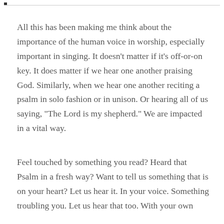All this has been making me think about the importance of the human voice in worship, especially important in singing. It doesn't matter if it's off-or-on key. It does matter if we hear one another praising God. Similarly, when we hear one another reciting a psalm in solo fashion or in unison. Or hearing all of us saying, “The Lord is my shepherd.” We are impacted in a vital way.
Feel touched by something you read? Heard that Psalm in a fresh way? Want to tell us something that is on your heart? Let us hear it. In your voice. Something troubling you. Let us hear that too. With your own